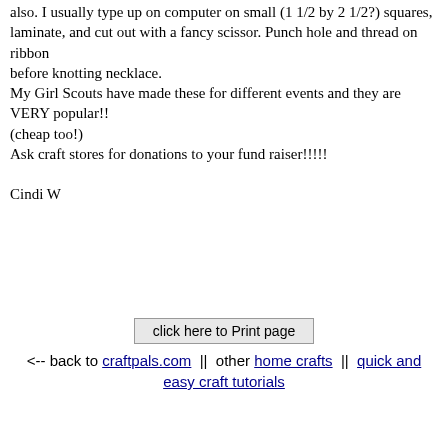also. I usually type up on computer on small (1 1/2 by 2 1/2?) squares, laminate, and cut out with a fancy scissor. Punch hole and thread on ribbon before knotting necklace. My Girl Scouts have made these for different events and they are VERY popular!! (cheap too!) Ask craft stores for donations to your fund raiser!!!!!

Cindi W
click here to Print page
<-- back to craftpals.com || other home crafts || quick and easy craft tutorials